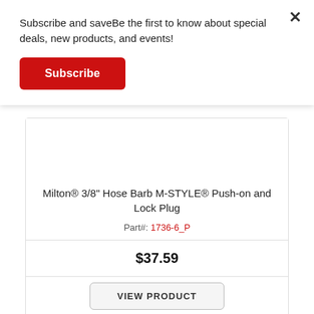Subscribe and saveBe the first to know about special deals, new products, and events!
Subscribe
Milton® 3/8" Hose Barb M-STYLE® Push-on and Lock Plug
Part#: 1736-6_P
$37.59
VIEW PRODUCT